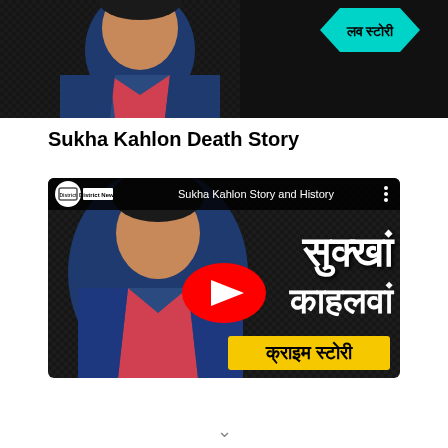[Figure (screenshot): Top portion of a video thumbnail showing a person in a blue jacket with red collar, with a cyan hexagonal badge showing text in Hindi (लव स्टोरी) on a dark background]
Sukha Kahlon Death Story
[Figure (screenshot): YouTube video thumbnail for 'Sukha Kahlon Story and History' by District News channel. Shows a smiling man in blue jacket with red collar on left, large Hindi text 'सुक्खां काहलवां' on right, a yellow banner at bottom with Hindi text 'क्राइम स्टोरी', and a YouTube play button in center.]